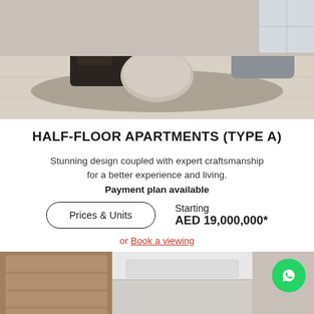[Figure (photo): Interior photo of a modern luxury living room with round ottoman, dark coffee table, and grey upholstered daybed on light tile flooring.]
HALF-FLOOR APARTMENTS (TYPE A)
Stunning design coupled with expert craftsmanship for a better experience and living.
Payment plan available
Prices & Units
Starting
AED 19,000,000*
or Book a viewing
[Figure (photo): Interior photo of a modern corridor or entrance area with wood panel walls and white ceiling.]